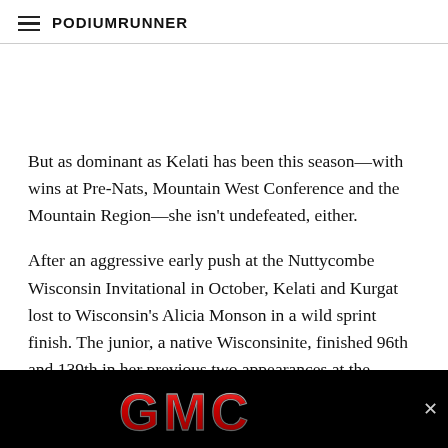PodiumRunner
But as dominant as Kelati has been this season—with wins at Pre-Nats, Mountain West Conference and the Mountain Region—she isn't undefeated, either.
After an aggressive early push at the Nuttycombe Wisconsin Invitational in October, Kelati and Kurgat lost to Wisconsin's Alicia Monson in a wild sprint finish. The junior, a native Wisconsinite, finished 96th and 139th in her previous two appearances at the NCAA XC Championships, so it's hard to imagine her actually offering a performance at this stage of the y... and the S...
[Figure (logo): GMC automotive brand logo in red metallic letters on black background with close button]